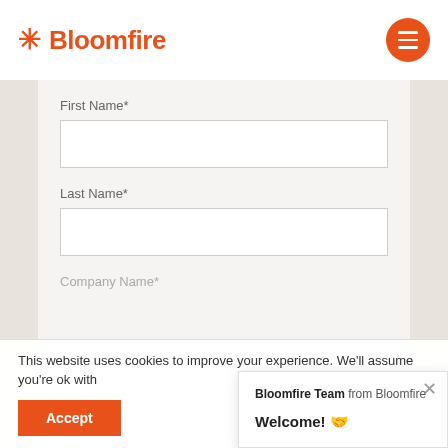[Figure (logo): Bloomfire logo with asterisk star icon in orange and 'Bloomfire' text in orange, plus hamburger menu button (orange circle with white lines) in top right]
First Name*
[Figure (screenshot): Empty text input field for First Name]
Last Name*
[Figure (screenshot): Empty text input field for Last Name]
Company Name*
This website uses cookies to improve your experience. We'll assume you're ok with
Accept
Bloomfire Team from Bloomfire
Welcome! 🤝